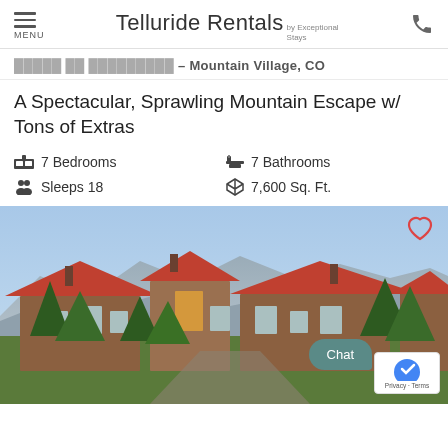Telluride Rentals by Exceptional Stays
11221 St. 11B St. 111 Mountain Village, CO
A Spectacular, Sprawling Mountain Escape w/ Tons of Extras
7 Bedrooms
7 Bathrooms
Sleeps 18
7,600 Sq. Ft.
[Figure (photo): Exterior photo of a large mountain chalet/lodge with red metal roofs, stone and wood construction, set against a blue sky with mountains in the background. Trees visible in foreground.]